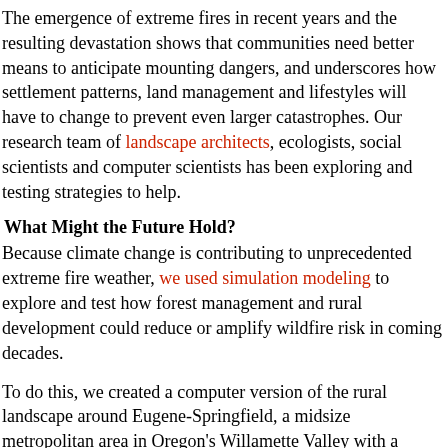The emergence of extreme fires in recent years and the resulting devastation shows that communities need better means to anticipate mounting dangers, and underscores how settlement patterns, land management and lifestyles will have to change to prevent even larger catastrophes. Our research team of landscape architects, ecologists, social scientists and computer scientists has been exploring and testing strategies to help.
What Might the Future Hold?
Because climate change is contributing to unprecedented extreme fire weather, we used simulation modeling to explore and test how forest management and rural development could reduce or amplify wildfire risk in coming decades.
To do this, we created a computer version of the rural landscape around Eugene-Springfield, a midsize metropolitan area in Oregon's Willamette Valley with a rapidly expanding population. Our simulations played out in carefully mapped representations of that landscape beginning in 2007, including its vegetation, property boundaries and the type of landowner managing each parcel, such as farmers, foresters or rural